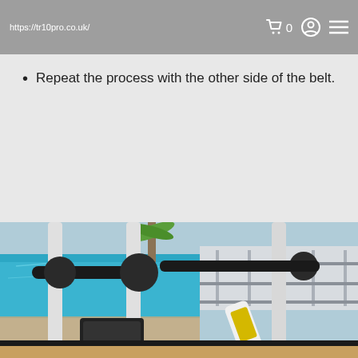https://tr10pro.co.uk/
Repeat the process with the other side of the belt.
[Figure (photo): Photo of treadmill gym equipment with handlebar grips in foreground, a lubricant bottle on the treadmill belt, and a swimming pool visible in the background.]